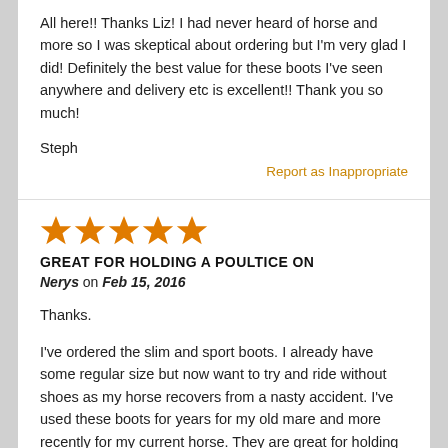All here!! Thanks Liz! I had never heard of horse and more so I was skeptical about ordering but I'm very glad I did! Definitely the best value for these boots I've seen anywhere and delivery etc is excellent!! Thank you so much!
Steph
Report as Inappropriate
[Figure (other): 5 orange stars rating]
GREAT FOR HOLDING A POULTICE ON
Nerys on Feb 15, 2016
Thanks.
I've ordered the slim and sport boots. I already have some regular size but now want to try and ride without shoes as my horse recovers from a nasty accident. I've used these boots for years for my old mare and more recently for my current horse. They are great for holding